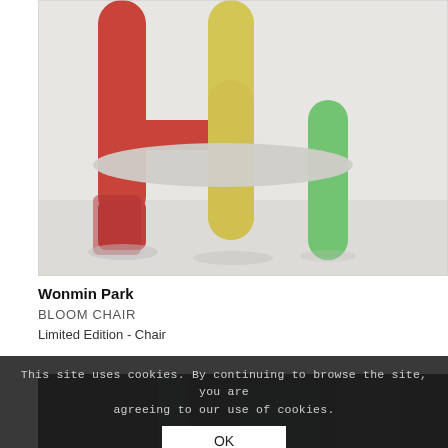[Figure (photo): Product photo of the Bloom Chair by Wonmin Park: a colorful chair with red, yellow, and green tubular legs and a light grey seat/back frame, shown against a light grey background.]
Wonmin Park
BLOOM CHAIR
Limited Edition - Chair
This site uses cookies. By continuing to browse the site, you are agreeing to our use of cookies.
[Figure (photo): Partially visible dark product photo obscured by cookie consent overlay.]